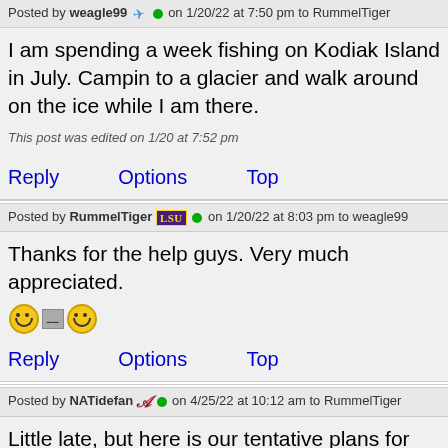Posted by weagle99 on 1/20/22 at 7:50 pm to RummelTiger
I am spending a week fishing on Kodiak Island in July. Camping to a glacier and walk around on the ice while I am there.
This post was edited on 1/20 at 7:52 pm
Reply   Options   Top
Posted by RummelTiger LSU on 1/20/22 at 8:03 pm to weagle99
Thanks for the help guys. Very much appreciated.
Reply   Options   Top
Posted by NATidefan on 4/25/22 at 10:12 am to RummelTiger
Little late, but here is our tentative plans for June.